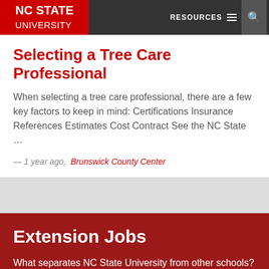NC STATE UNIVERSITY — RESOURCES
Selecting a Tree Care Professional
When selecting a tree care professional, there are a few key factors to keep in mind: Certifications Insurance References Estimates Cost Contract See the NC State …
— 1 year ago,  Brunswick County Center
Extension Jobs
What separates NC State University from other schools? The same thing that connects it to every corner of North Carolina. NC State Extension. Working …